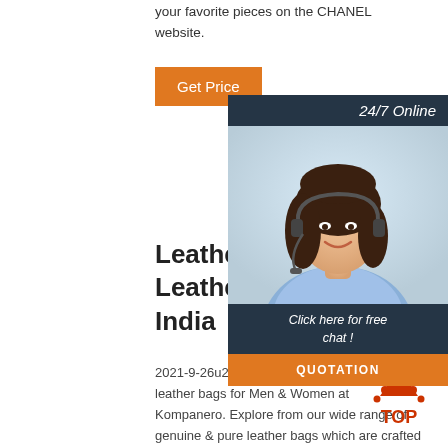your favorite pieces on the CHANEL website.
Get Price
[Figure (photo): Customer service widget showing 24/7 Online banner, photo of smiling woman with headset, 'Click here for free chat!' text, and QUOTATION button]
Leather Bags - Buy Leather Bags Online India
2021-9-26u2002·u2002Leather Bags - Buy the best leather bags for Men & Women at Kompanero. Explore from our wide range of genuine & pure leather bags which are crafted with perfection. Sustainable leather bags COD Free Shipping.
[Figure (logo): Red TOP badge/arrow logo]